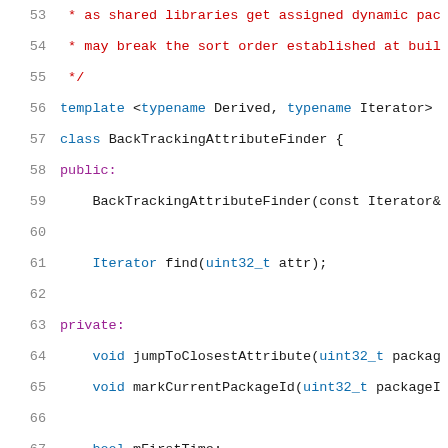[Figure (screenshot): Source code screenshot showing C++ class definition for BackTrackingAttributeFinder with line numbers 53-73. Lines 53-55 show a comment block, lines 56-57 show template and class declaration, lines 58-73 show class members including constructor, find method, private methods, and member variables.]